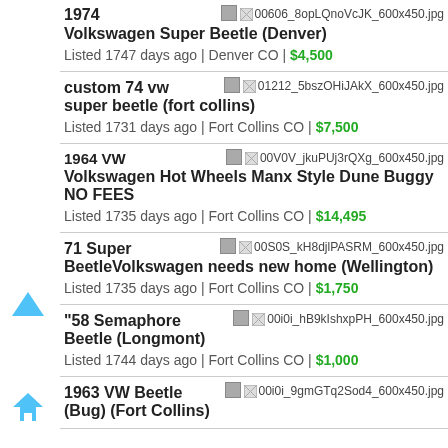1974 Volkswagen Super Beetle (Denver)
Listed 1747 days ago | Denver CO | $4,500
Image: 00606_8opLQnoVcJK_600x450.jpg
custom 74 vw super beetle (fort collins)
Listed 1731 days ago | Fort Collins CO | $7,500
Image: 01212_5bszOHiJAkX_600x450.jpg
1964 VW Volkswagen Hot Wheels Manx Style Dune Buggy NO FEES
Listed 1735 days ago | Fort Collins CO | $14,495
Image: 00V0V_jkuPUj3rQXg_600x450.jpg
71 Super BeetleVolkswagen needs new home (Wellington)
Listed 1735 days ago | Fort Collins CO | $1,750
Image: 00S0S_kH8djlPASRM_600x450.jpg
"58 Semaphore Beetle (Longmont)
Listed 1744 days ago | Fort Collins CO | $1,000
Image: 00i0i_hB9kIshxpPH_600x450.jpg
1963 VW Beetle (Bug) (Fort Collins)
Image: 00i0i_9gmGTq2Sod4_600x450.jpg